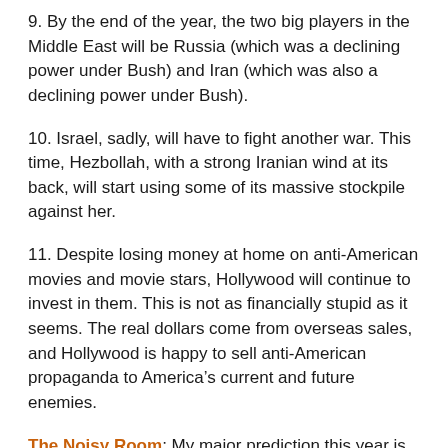9. By the end of the year, the two big players in the Middle East will be Russia (which was a declining power under Bush) and Iran (which was also a declining power under Bush).
10. Israel, sadly, will have to fight another war. This time, Hezbollah, with a strong Iranian wind at its back, will start using some of its massive stockpile against her.
11. Despite losing money at home on anti-American movies and movie stars, Hollywood will continue to invest in them. This is not as financially stupid as it seems. The real dollars come from overseas sales, and Hollywood is happy to sell anti-American propaganda to America’s current and future enemies.
The Noisy Room: My major prediction this year is that if the elections are fair and we see a Trump/Cruz ticket, we will see a landslide to rival Ronald Reagan. I predict the same if you see a Cruz nomination. You will see a major revolt in the Republican Party and it will be reformed or it will cease to exist. I also predict that Europe will come unraveled under the onslaught of the Muslim invasion. There are more…[text continues below]